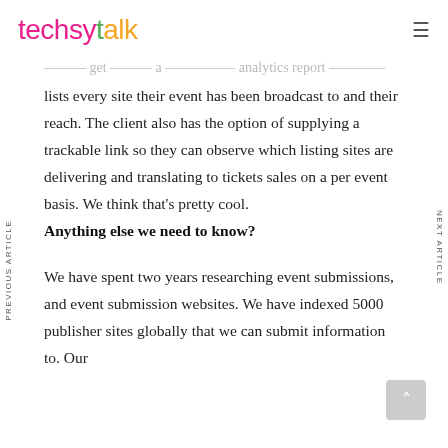techsytalk
lists every site their event has been broadcast to and their reach. The client also has the option of supplying a trackable link so they can observe which listing sites are delivering and translating to tickets sales on a per event basis. We think that's pretty cool.
Anything else we need to know?
We have spent two years researching event submissions, and event submission websites. We have indexed 5000 publisher sites globally that we can submit information to. Our